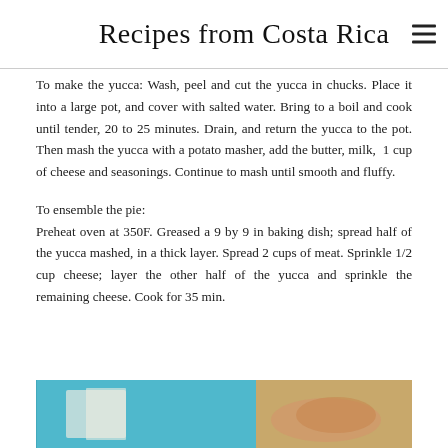Recipes from Costa Rica
To make the yucca: Wash, peel and cut the yucca in chucks. Place it into a large pot, and cover with salted water. Bring to a boil and cook until tender, 20 to 25 minutes. Drain, and return the yucca to the pot. Then mash the yucca with a potato masher, add the butter, milk, 1 cup of cheese and seasonings. Continue to mash until smooth and fluffy.
To ensemble the pie:
Preheat oven at 350F. Greased a 9 by 9 in baking dish; spread half of the yucca mashed, in a thick layer. Spread 2 cups of meat. Sprinkle 1/2 cup cheese; layer the other half of the yucca and sprinkle the remaining cheese. Cook for 35 min.
[Figure (photo): Photo of a dish, partially visible at the bottom of the page. Shows what appears to be a teal/blue background with food items.]